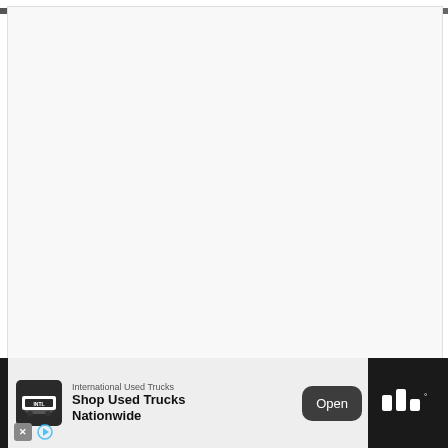[Figure (photo): Top strip showing a partial outdoor/nature photo, cropped at the top of the page]
[Figure (other): Large white/light gray blank content area, likely a webpage main content region]
[Figure (screenshot): Advertisement banner at bottom of page for International Used Trucks showing logo, text 'International Used Trucks / Shop Used Trucks Nationwide', an Open button, and additional icons]